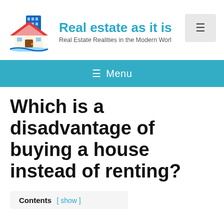[Figure (logo): Real estate as it is website logo — colorful building and house icon]
Real estate as it is
Real Estate Realities in the Modern World
[Figure (other): Hamburger menu button (three horizontal lines)]
≡  Menu
Which is a disadvantage of buying a house instead of renting?
Contents [ show ]